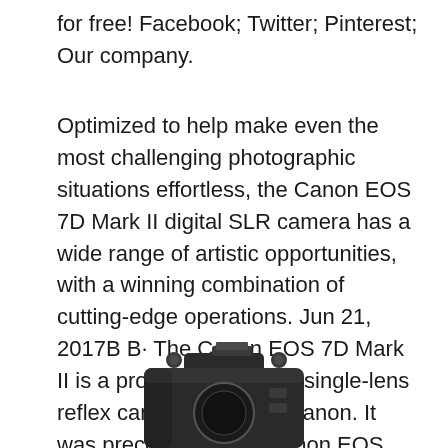for free! Facebook; Twitter; Pinterest; Our company.
Optimized to help make even the most challenging photographic situations effortless, the Canon EOS 7D Mark II digital SLR camera has a wide range of artistic opportunities, with a winning combination of cutting-edge operations. Jun 21, 2017В В· The Canon EOS 7D Mark II is a professional digital single-lens reflex camera made by Canon. It was preceded by the Canon EOS 7D. The 7D Mark II was named the вЂњBest Digital SLR ExpertвЂќ in 2015 by the Technical Image Press Association.
[Figure (photo): Partial view of a Canon EOS 7D Mark II digital SLR camera, showing the top portion of the camera body in dark grey/black color.]